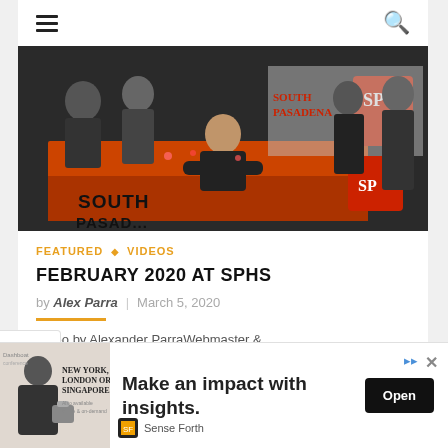Navigation bar with hamburger menu and search icon
[Figure (photo): Photo of a young man signing at a table covered with an orange 'South Pasadena' tablecloth, surrounded by people, with SP banners in the background]
FEATURED ◆ VIDEOS
FEBRUARY 2020 AT SPHS
by Alex Parra | March 5, 2020
Video by Alexander ParraWebmaster &
[Figure (infographic): Advertisement banner: 'Make an impact with insights.' — Sense Forth, with Open button]